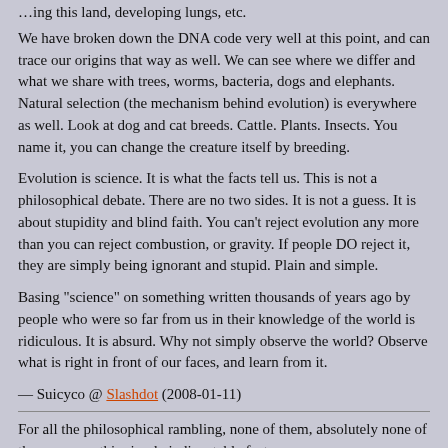…ing this land, developing lungs, etc.
We have broken down the DNA code very well at this point, and can trace our origins that way as well. We can see where we differ and what we share with trees, worms, bacteria, dogs and elephants. Natural selection (the mechanism behind evolution) is everywhere as well. Look at dog and cat breeds. Cattle. Plants. Insects. You name it, you can change the creature itself by breeding.
Evolution is science. It is what the facts tell us. This is not a philosophical debate. There are no two sides. It is not a guess. It is about stupidity and blind faith. You can't reject evolution any more than you can reject combustion, or gravity. If people DO reject it, they are simply being ignorant and stupid. Plain and simple.
Basing "science" on something written thousands of years ago by people who were so far from us in their knowledge of the world is ridiculous. It is absurd. Why not simply observe the world? Observe what is right in front of our faces, and learn from it.
— Suicyco @ Slashdot (2008-01-11)
For all the philosophical rambling, none of them, absolutely none of them, escape this simple indisputable fact:
All religious teachings are provided to us by humans…